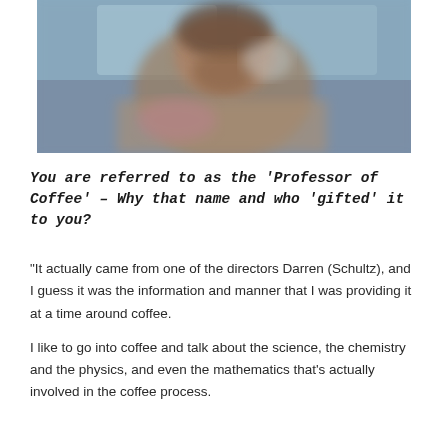[Figure (photo): Blurred close-up photo of a person, likely a man with a beard, in an indoor setting with soft blue and warm tones in the background.]
You are referred to as the 'Professor of Coffee' – Why that name and who 'gifted' it to you?
“It actually came from one of the directors Darren (Schultz), and I guess it was the information and manner that I was providing it at a time around coffee.

I like to go into coffee and talk about the science, the chemistry and the physics, and even the mathematics that’s actually involved in the coffee process.